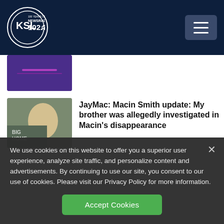KSL NewsRadio 102.7 FM
[Figure (photo): Thumbnail image with purple/blue tones, partially visible at top]
JayMac: Macin Smith update: My brother was allegedly investigated in Macin's disappearance
[Figure (photo): Photo of a young man with text overlay reading 'BIG HOME']
Structure fire in Millard — partially visible headline
We use cookies on this website to offer you a superior user experience, analyze site traffic, and personalize content and advertisements. By continuing to use our site, you consent to our use of cookies. Please visit our Privacy Policy for more information.
Accept Cookies